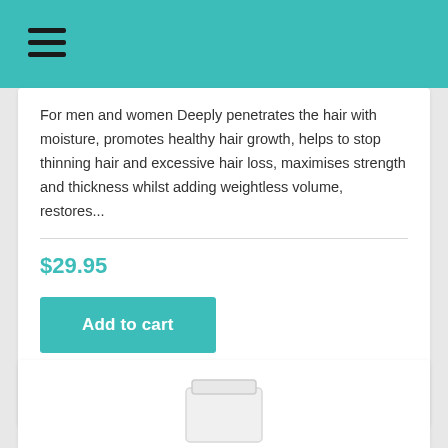[Figure (other): Teal navigation header bar with hamburger menu icon]
For men and women Deeply penetrates the hair with moisture, promotes healthy hair growth, helps to stop thinning hair and excessive hair loss, maximises strength and thickness whilst adding weightless volume, restores...
$29.95
Add to cart
Add to wishlist
[Figure (photo): Bottom portion of a white product jar/container visible at the bottom of the page]